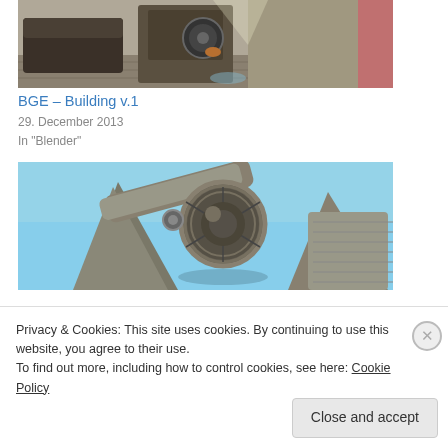[Figure (photo): 3D rendered scene showing a fantasy/steampunk building or room interior with wooden furniture and mechanical elements, top portion visible]
BGE – Building v.1
29. December 2013
In "Blender"
[Figure (photo): 3D rendered close-up of a mechanical engine or turbine component with metallic textures against a blue sky background]
Privacy & Cookies: This site uses cookies. By continuing to use this website, you agree to their use.
To find out more, including how to control cookies, see here: Cookie Policy